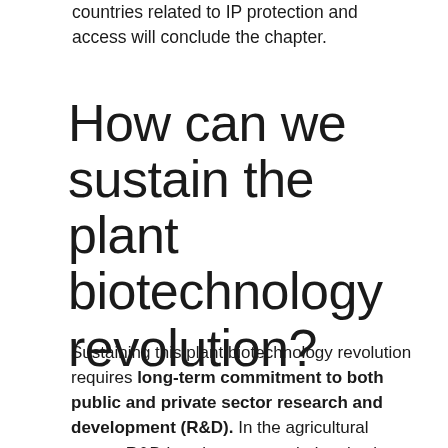countries related to IP protection and access will conclude the chapter.
How can we sustain the plant biotechnology revolution?
Sustaining this plant biotechnology revolution requires long-term commitment to both public and private sector research and development (R&D). In the agricultural sector, R&D is unique among industries in at least two aspects: the truly global reach of a majority of agricultural